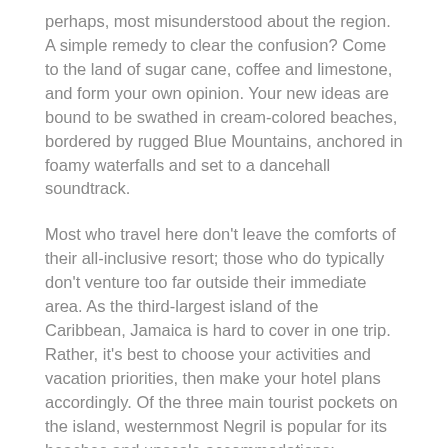perhaps, most misunderstood about the region. A simple remedy to clear the confusion? Come to the land of sugar cane, coffee and limestone, and form your own opinion. Your new ideas are bound to be swathed in cream-colored beaches, bordered by rugged Blue Mountains, anchored in foamy waterfalls and set to a dancehall soundtrack.
Most who travel here don't leave the comforts of their all-inclusive resort; those who do typically don't venture too far outside their immediate area. As the third-largest island of the Caribbean, Jamaica is hard to cover in one trip. Rather, it's best to choose your activities and vacation priorities, then make your hotel plans accordingly. Of the three main tourist pockets on the island, westernmost Negril is popular for its beaches and upscale accommodations; northwestern Montego Bay is well-liked by golfers; and Ocho Rios in the northeast appeals most to adventurous types. Some (but not many) visitors choose the eastern area of Port Antonio to try the top-notch surfing at Boston Bay Beach, the hiking along the Blue Mountains